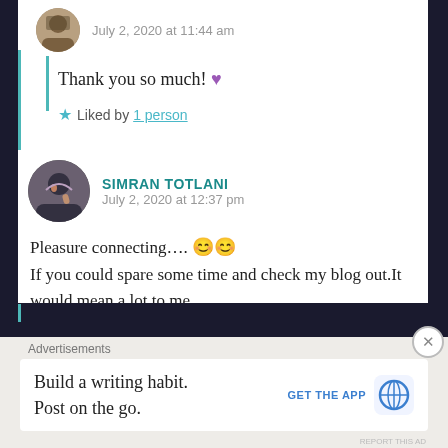July 2, 2020 at 11:44 am
Thank you so much! 💜
Liked by 1 person
SIMRAN TOTLANI
July 2, 2020 at 12:37 pm
Pleasure connecting…. 😊😊
If you could spare some time and check my blog out.It would mean a lot to me….
Liked by 1 person
Advertisements
Build a writing habit.
Post on the go.
GET THE APP